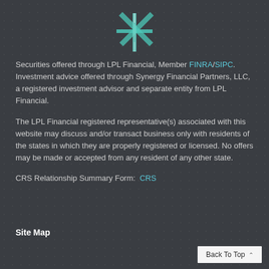[Figure (logo): Synergy Financial Partners star/asterisk logo in teal and white on dark background]
Securities offered through LPL Financial, Member FINRA/SIPC. Investment advice offered through Synergy Financial Partners, LLC, a registered investment advisor and separate entity from LPL Financial.
The LPL Financial registered representative(s) associated with this website may discuss and/or transact business only with residents of the states in which they are properly registered or licensed. No offers may be made or accepted from any resident of any other state.
CRS Relationship Summary Form:  CRS
Site Map
Back To Top